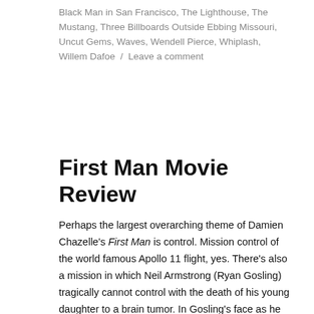Black Man in San Francisco, The Lighthouse, The Mustang, Three Billboards Outside Ebbing Missouri, Uncut Gems, Waves, Wendell Pierce, Whiplash, Willem Dafoe / Leave a comment
First Man Movie Review
Perhaps the largest overarching theme of Damien Chazelle's First Man is control. Mission control of the world famous Apollo 11 flight, yes. There's also a mission in which Neil Armstrong (Ryan Gosling) tragically cannot control with the death of his young daughter to a brain tumor. In Gosling's face as he lands for the first time ever on the outer reaches of our solar system, we sense his myopic focus on this